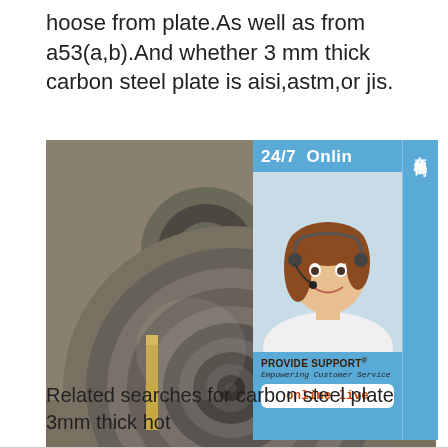hoose from plate.As well as from a53(a,b).And whether 3 mm thick carbon steel plate is aisi,astm,or jis.
[Figure (photo): Industrial steel coils/rolls stacked in a warehouse facility. Large rolls of carbon steel sheet are shown in gray metallic color. An overlaid customer service chat widget shows '24/7 Online' with a female customer service representative wearing a headset, 'PROVIDE SUPPORT® Empowering Customer Service', an 'online live' button, and Chinese text '在线咨询' (online consultation) on the side.]
Related searches for carbon steel plate 3mm thick hot